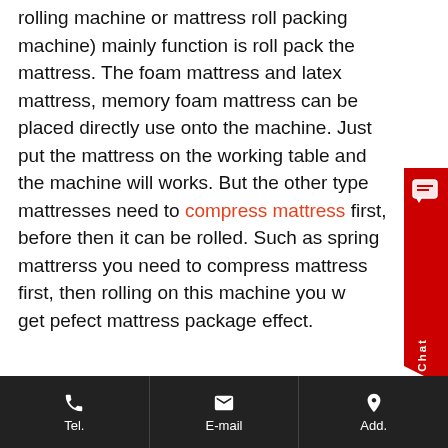rolling machine or mattress roll packing machine) mainly function is roll pack the mattress. The foam mattress and latex mattress, memory foam mattress can be placed directly use onto the machine. Just put the mattress on the working table and the machine will works. But the other type mattresses need to compress mattress first, before then it can be rolled. Such as spring mattrerss you need to compress mattress first, then rolling on this machine you will get pefect mattress package effect.
[Figure (other): Live Chat button widget on the right side of the page, red background with white text reading 'Live Chat' and a chat icon]
Tel.   E-mail   Add.